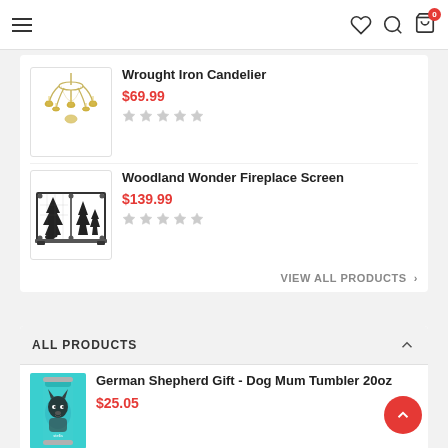Navigation bar with hamburger menu, heart, search, and cart (0) icons
Wrought Iron Candelier
$69.99
★★★★★ (empty stars)
Woodland Wonder Fireplace Screen
$139.99
★★★★★ (empty stars)
VIEW ALL PRODUCTS >
ALL PRODUCTS
German Shepherd Gift - Dog Mum Tumbler 20oz
$25.05